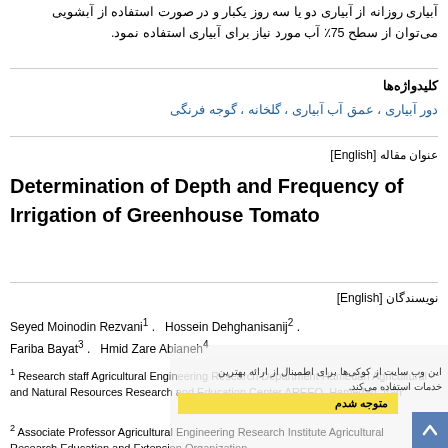آبیاری روزانه از آبیاری دو یا سه روز یکبار و در صورت استفاده از آبشویی می‌توان از سطح 75٪ آب مورد نیاز برای آبیاری استفاده نمود.
کلیدواژه‌ها
دور آبیاری ، عمق آب آبیاری ، گلخانه ، گوجه فرنگی
عنوان مقاله [English]
Determination of Depth and Frequency of Irrigation of Greenhouse Tomato
نویسندگان [English]
Seyed Moinodin Rezvani 1 .   Hossein Dehghanisanij 2 .   Fariba Bayat 3 .   Hmid Zare Abianeh 4
1 Research staff Agricultural Engineering Research Department Hamedan Agricultural and Natural Resources Research and Education Center AREEO. Hamedan. Iran
2 Associate Professor Agricultural Engineering Research Institute Agricultural Research Education and Extension Organization